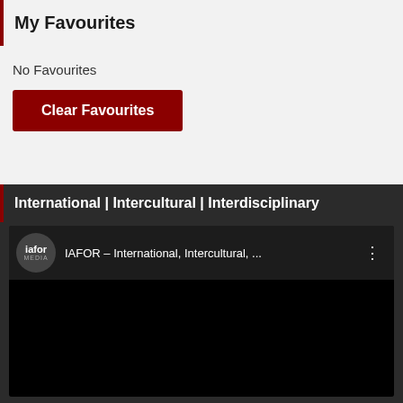My Favourites
No Favourites
Clear Favourites
International | Intercultural | Interdisciplinary
[Figure (screenshot): IAFOR Media video card showing logo and title 'IAFOR – International, Intercultural, ...' with a black video thumbnail below]